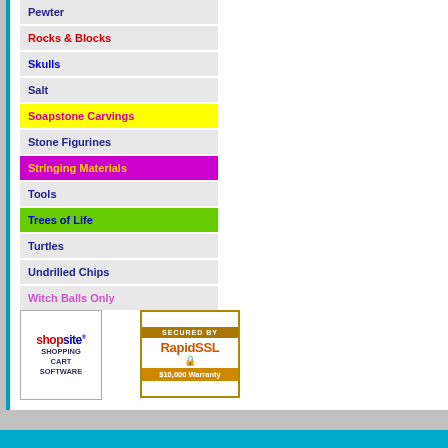Pewter
Rocks & Blocks
Skulls
Salt
Soapstone Carvings
Stone Figurines
Stringing Materials
Tools
Trees of Life
Turtles
Undrilled Chips
Witch Balls Only
[Figure (logo): ShopSite Shopping Cart Software logo badge]
[Figure (logo): Secured by RapidSSL $10,000 Warranty badge]